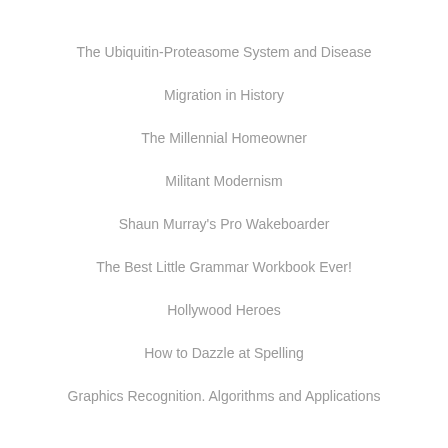The Ubiquitin-Proteasome System and Disease
Migration in History
The Millennial Homeowner
Militant Modernism
Shaun Murray's Pro Wakeboarder
The Best Little Grammar Workbook Ever!
Hollywood Heroes
How to Dazzle at Spelling
Graphics Recognition. Algorithms and Applications